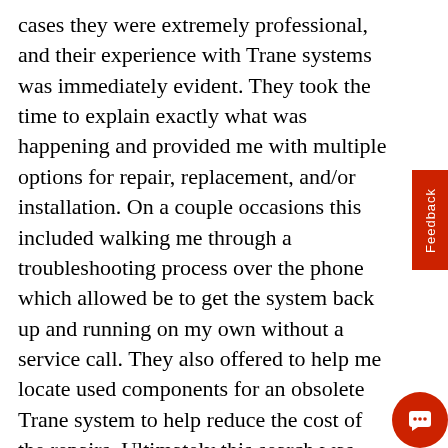cases they were extremely professional, and their experience with Trane systems was immediately evident. They took the time to explain exactly what was happening and provided me with multiple options for repair, replacement, and/or installation. On a couple occasions this included walking me through a troubleshooting process over the phone which allowed be to get the system back up and running on my own without a service call. They also offered to help me locate used components for an obsolete Trane system to help reduce the cost of the repairs. Ultimately this search was unsuccessful and we had to install a new zoning system, but their willingness to try and always go the extra mile for their customers is what sets them apart.I would strongly encourage you to use Allen Mechanical for all your Trane equipment service and installation needs.